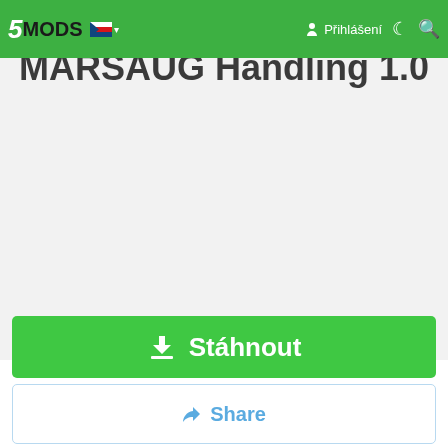5MODS | Přihlášení
Chevrolet Corvette C8 by MARSAUG Handling 1.0
[Figure (screenshot): Large white/light grey blank content area below the navigation bar, representing the main page body area of the 5mods website mod page.]
Stáhnout
Share